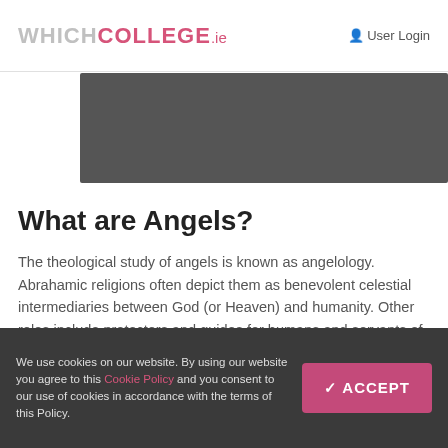WHICHCOLLEGE.ie   User Login
[Figure (photo): Dark gray/charcoal banner image area spanning most of the width]
What are Angels?
The theological study of angels is known as angelology. Abrahamic religions often depict them as benevolent celestial intermediaries between God (or Heaven) and humanity. Other roles include protectors and guides for humans and servants of God.
The term “angel” comes from the Greek word “angelos,” which means “messenger.” Angels are very powerful beings who function as God’s
We use cookies on our website. By using our website you agree to this Cookie Policy and you consent to our use of cookies in accordance with the terms of this Policy.